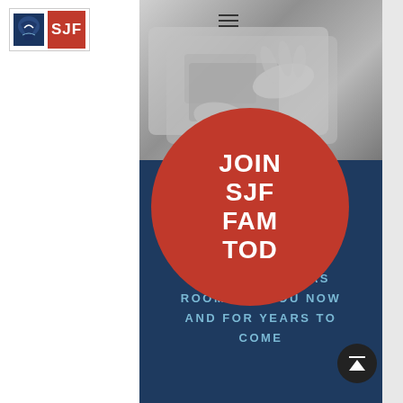[Figure (logo): SJF school logo with navy knight helmet icon and red SJF text]
[Figure (photo): Grayscale photo of hands on a laptop keyboard/trackpad from above]
JOIN SJF FAMILY TODAY
OUR SCHOOL HAS ROOM FOR YOU NOW AND FOR YEARS TO COME